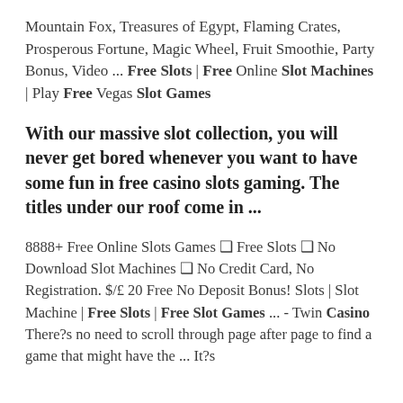Mountain Fox, Treasures of Egypt, Flaming Crates, Prosperous Fortune, Magic Wheel, Fruit Smoothie, Party Bonus, Video ... Free Slots | Free Online Slot Machines | Play Free Vegas Slot Games
With our massive slot collection, you will never get bored whenever you want to have some fun in free casino slots gaming. The titles under our roof come in ...
8888+ Free Online Slots Games ❑ Free Slots ❑ No Download Slot Machines ❑ No Credit Card, No Registration. $/£ 20 Free No Deposit Bonus! Slots | Slot Machine | Free Slots | Free Slot Games ... - Twin Casino There?s no need to scroll through page after page to find a game that might have the ... It?s